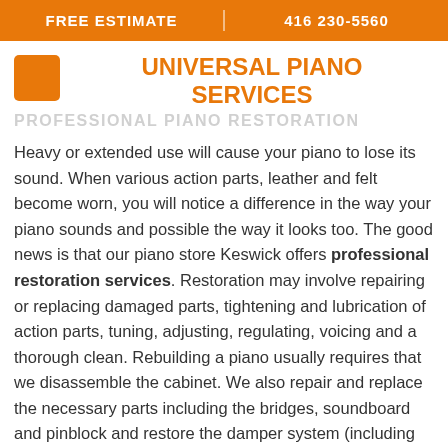FREE ESTIMATE | 416 230-5560
UNIVERSAL PIANO SERVICES
PROFESSIONAL PIANO RESTORATION
Heavy or extended use will cause your piano to lose its sound. When various action parts, leather and felt become worn, you will notice a difference in the way your piano sounds and possible the way it looks too. The good news is that our piano store Keswick offers professional restoration services. Restoration may involve repairing or replacing damaged parts, tightening and lubrication of action parts, tuning, adjusting, regulating, voicing and a thorough clean. Rebuilding a piano usually requires that we disassemble the cabinet. We also repair and replace the necessary parts including the bridges, soundboard and pinblock and restore the damper system (including replacing the strings, action parts and hammer). If needed, we also refinish the cast-iron